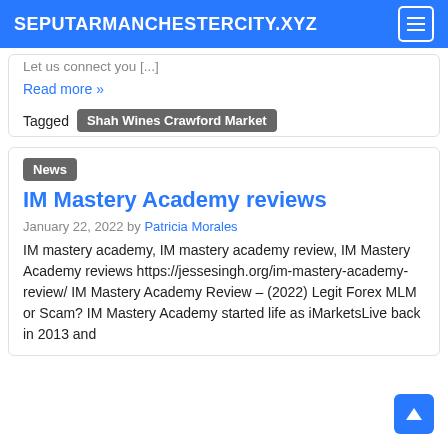SEPUTARMANCHESTERCITY.XYZ
Let us connect you [...]
Read more »
Tagged  Shah Wines Crawford Market
News
IM Mastery Academy reviews
January 22, 2022 by Patricia Morales
IM mastery academy, IM mastery academy review, IM Mastery Academy reviews https://jessesingh.org/im-mastery-academy-review/ IM Mastery Academy Review – (2022) Legit Forex MLM or Scam? IM Mastery Academy started life as iMarketsLive back in 2013 and